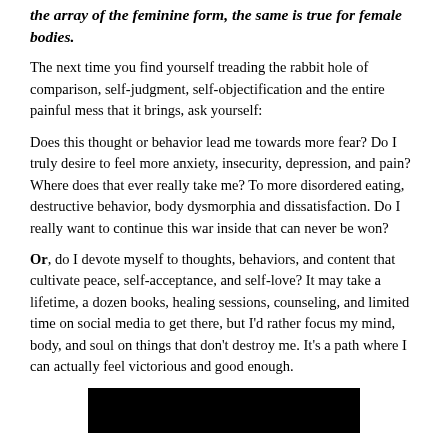the array of the feminine form, the same is true for female bodies.
The next time you find yourself treading the rabbit hole of comparison, self-judgment, self-objectification and the entire painful mess that it brings, ask yourself:
Does this thought or behavior lead me towards more fear?  Do I truly desire to feel more anxiety, insecurity, depression, and pain?  Where does that ever really take me?  To more disordered eating, destructive behavior, body dysmorphia and dissatisfaction.  Do I really want to continue this war inside that can never be won?
Or, do I devote myself to thoughts, behaviors, and content that cultivate peace, self-acceptance, and self-love?  It may take a lifetime, a dozen books, healing sessions, counseling, and limited time on social media to get there, but I'd rather focus my mind, body, and soul on things that don't destroy me.  It's a path where I can actually feel victorious and good enough.
[Figure (photo): Black rectangular image block at the bottom of the page]